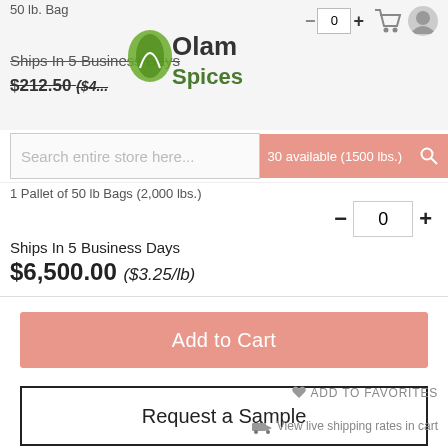50 lb. Bag
Ships In 5 Business Days
$212.50 ($4... [Olam Spices logo overlay]
30 available (1500 lbs.)
1 Pallet of 50 lb Bags (2,000 lbs.)
Ships In 5 Business Days
$6,500.00 ($3.25/lb)
Add to Cart
Request a Sample
ADD TO FAVORITES
View live shipping rates in cart